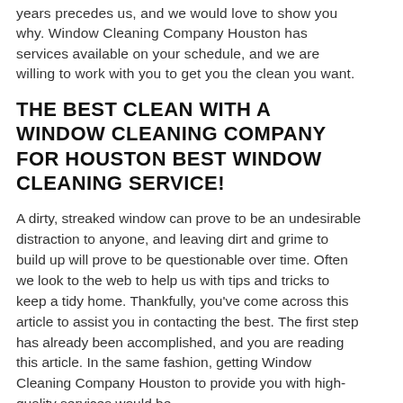years precedes us, and we would love to show you why. Window Cleaning Company Houston has services available on your schedule, and we are willing to work with you to get you the clean you want.
THE BEST CLEAN WITH A WINDOW CLEANING COMPANY FOR HOUSTON BEST WINDOW CLEANING SERVICE!
A dirty, streaked window can prove to be an undesirable distraction to anyone, and leaving dirt and grime to build up will prove to be questionable over time. Often we look to the web to help us with tips and tricks to keep a tidy home. Thankfully, you've come across this article to assist you in contacting the best. The first step has already been accomplished, and you are reading this article. In the same fashion, getting Window Cleaning Company Houston to provide you with high-quality services would be